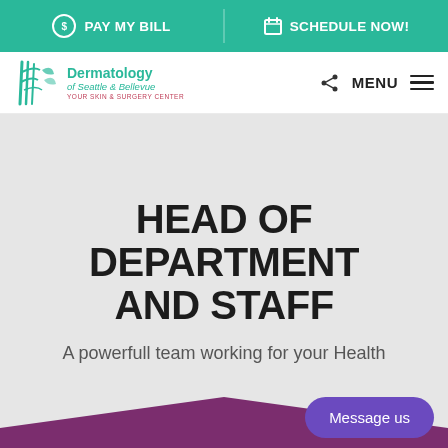PAY MY BILL | SCHEDULE NOW!
[Figure (logo): Dermatology of Seattle & Bellevue logo with bamboo graphic and tagline YOUR SKIN & SURGERY CENTER]
MENU
HEAD OF DEPARTMENT AND STAFF
A powerfull team working for your Health
Message us